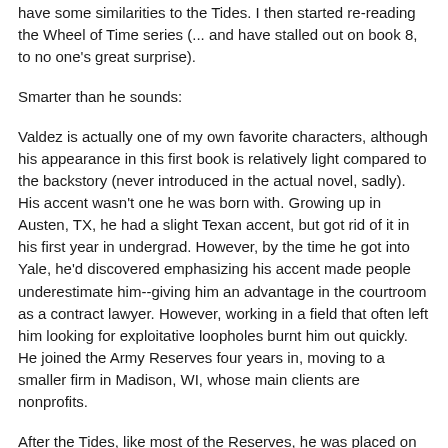have some similarities to the Tides. I then started re-reading the Wheel of Time series (... and have stalled out on book 8, to no one's great surprise).
Smarter than he sounds:
Valdez is actually one of my own favorite characters, although his appearance in this first book is relatively light compared to the backstory (never introduced in the actual novel, sadly). His accent wasn't one he was born with. Growing up in Austen, TX, he had a slight Texan accent, but got rid of it in his first year in undergrad. However, by the time he got into Yale, he'd discovered emphasizing his accent made people underestimate him--giving him an advantage in the courtroom as a contract lawyer. However, working in a field that often left him looking for exploitative loopholes burnt him out quickly. He joined the Army Reserves four years in, moving to a smaller firm in Madison, WI, whose main clients are nonprofits.
After the Tides, like most of the Reserves, he was placed on active duty for Recovery missions. In the three-month interlude when Recovery missions weren't possible, he...